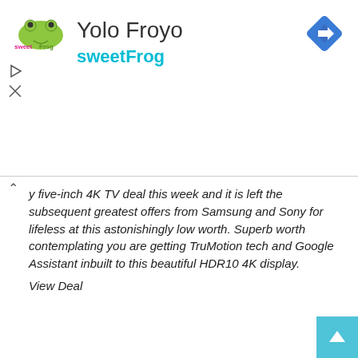[Figure (logo): sweetFrog frozen yogurt logo — colorful frog icon with text]
Yolo Froyo
sweetFrog
[Figure (other): Blue diamond navigation/directions icon with right-turn arrow]
y five-inch 4K TV deal this week and it is left the subsequent greatest offers from Samsung and Sony for lifeless at this astonishingly low worth. Superb worth contemplating you are getting TruMotion tech and Google Assistant inbuilt to this beautiful HDR10 4K display.
View Deal
[Figure (other): Light gray placeholder image with TechRadar watermark logo in the center]